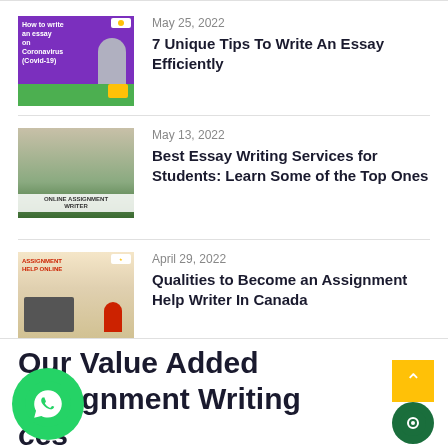[Figure (illustration): Thumbnail image for essay writing article with purple background and person wearing mask]
May 25, 2022
7 Unique Tips To Write An Essay Efficiently
[Figure (illustration): Thumbnail image showing hands writing in a notebook with green banner at bottom showing Online Assignment Writer]
May 13, 2022
Best Essay Writing Services for Students: Learn Some of the Top Ones
[Figure (illustration): Thumbnail image for assignment help showing red text ASSIGNMENT HELP ONLINE with desk and person graphic]
April 29, 2022
Qualities to Become an Assignment Help Writer In Canada
Our Value Added Assignment Writing ces